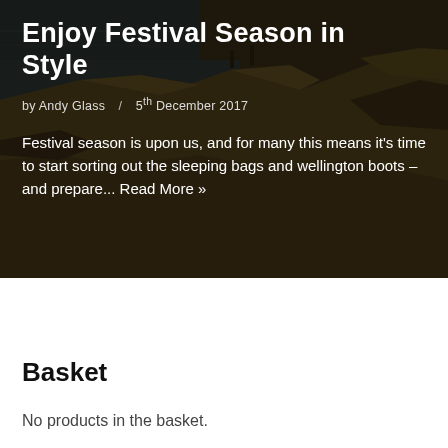[Figure (photo): Coastal cliffs with grass and dark overlay background image for festival season blog post]
Enjoy Festival Season in Style
by Andy Glass / 5th December 2017
Festival season is upon us, and for many this means it's time to start sorting out the sleeping bags and wellington boots – and prepare... Read More »
Basket
No products in the basket.